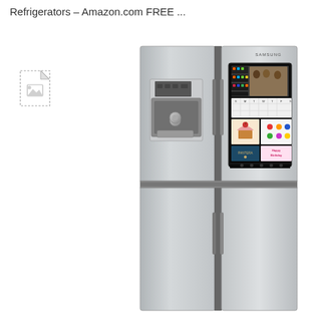Refrigerators – Amazon.com FREE ...
[Figure (photo): Broken/missing image placeholder icon (dashed border with image icon)]
[Figure (photo): Samsung Family Hub French door refrigerator in stainless steel finish with a large touchscreen display on the upper right door showing family photos, a calendar, and apps. The left upper door has a water/ice dispenser. Lower two doors are plain stainless steel panels.]